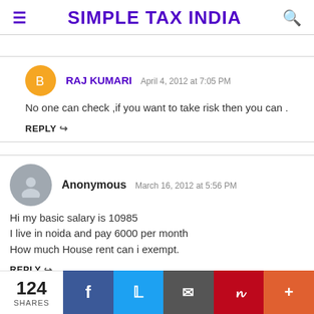SIMPLE TAX INDIA
RAJ KUMARI  April 4, 2012 at 7:05 PM
No one can check ,if you want to take risk then you can .
REPLY
Anonymous  March 16, 2012 at 5:56 PM
Hi my basic salary is 10985
I live in noida and pay 6000 per month
How much House rent can i exempt.
REPLY
124 SHARES